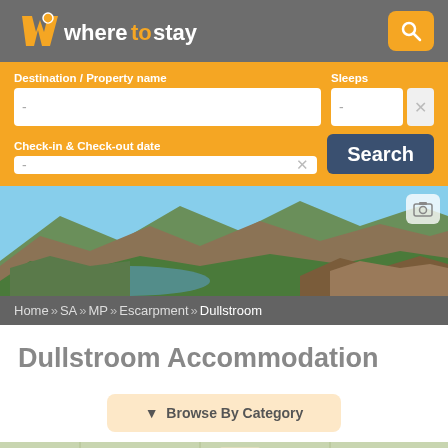[Figure (logo): wheretostay logo with orange map pin icon and grey/white text]
Destination / Property name
Sleeps
Check-in & Check-out date
[Figure (photo): Scenic landscape photo of mountain escarpment with rocky cliffs, green vegetation, and blue sky — Blyde River Canyon area]
Home» SA» MP» Escarpment» Dullstroom
Dullstroom Accommodation
▼  Browse By Category
[Figure (map): Partial map strip at the bottom of the page]